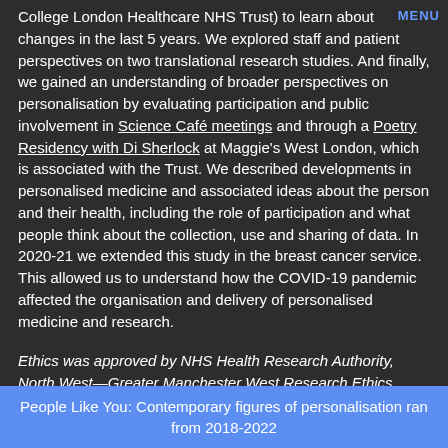College London Healthcare NHS Trust) to learn about changes in the last 5 years. We explored staff and patient perspectives on two translational research studies. And finally, we gained an understanding of broader perspectives on personalisation by evaluating participation and public involvement in Science Café meetings and through a Poetry Residency with Di Sherlock at Maggie's West London, which is associated with the Trust. We described developments in personalised medicine and associated ideas about the person and their health, including the role of participation and what people think about the collection, use and sharing of data. In 2020-21 we extended this study in the breast cancer service. This allowed us to understand how the COVID-19 pandemic affected the organisation and delivery of personalised medicine and research.
Ethics was approved by NHS Health Research Authority, North West—Greater Manchester West Research Ethics Committee, 19/NW/0559.
People Like You: Contemporary figures of personalisation ran from 2018-2022